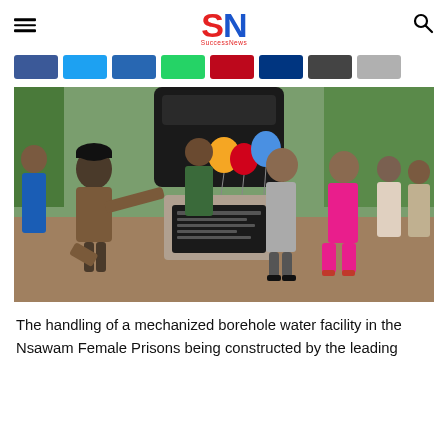SN (SuccessNews) - hamburger menu, logo, search icon
[Figure (other): Row of social media share buttons: Facebook (blue), Twitter (light blue), LinkedIn (dark blue), WhatsApp (green), Pinterest (red), another (dark blue/navy), one dark grey, one light grey]
[Figure (photo): Group of people at an inauguration of a mechanized borehole water facility. A man in a black cap and patterned outfit leans over a plaque on a concrete pedestal with colorful balloons. Others stand around watching, including a woman in a pink dress and others in casual attire. A large black water tank is visible above.]
The handling of a mechanized borehole water facility in the Nsawam Female Prisons being constructed by the leading